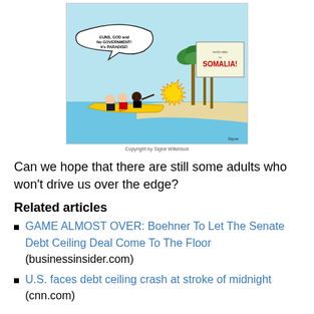[Figure (illustration): Political cartoon showing people in a boat labeled 'GOP' with speech bubble reading 'GUNS, GOD and No GOVERNMENT! It's PARADISE!' approaching a shore with a 'Welcome to SOMALIA!' sign and palm trees. Copyright by Signe Wilkinson.]
Copyright by Signe Wilkinson
Can we hope that there are still some adults who won't drive us over the edge?
Related articles
GAME ALMOST OVER: Boehner To Let The Senate Debt Ceiling Deal Come To The Floor (businessinsider.com)
U.S. faces debt ceiling crash at stroke of midnight (cnn.com)